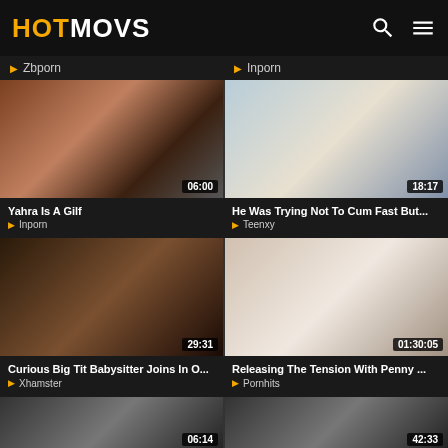HOTMOVS
▶ Zbporn
▶ Inporn
[Figure (screenshot): Video thumbnail for 'Yahra Is A Gilf', duration 06:00]
[Figure (screenshot): Video thumbnail for 'He Was Trying Not To Cum Fast But...', duration 18:17]
Yahra Is A Gilf
He Was Trying Not To Cum Fast But...
▶ Inporn
▶ Teenxy
[Figure (screenshot): Video thumbnail for 'Curious Big Tit Babysitter Joins In O...', duration 29:31]
[Figure (screenshot): Video thumbnail for 'Releasing The Tension With Penny ...', duration 01:30:05]
Curious Big Tit Babysitter Joins In O...
Releasing The Tension With Penny ...
▶ Xhamster
▶ Pornhits
[Figure (screenshot): Partial video thumbnail, duration 06:14]
[Figure (screenshot): Partial video thumbnail, duration 42:33]